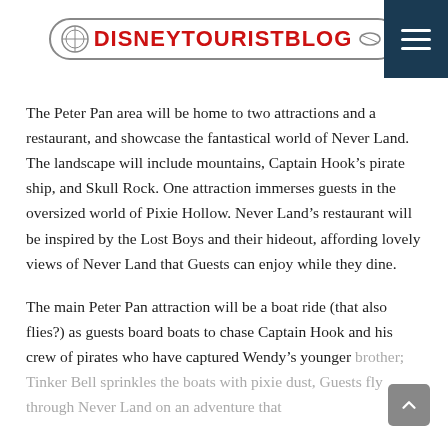DISNEYTOURISTBLOG
The Peter Pan area will be home to two attractions and a restaurant, and showcase the fantastical world of Never Land. The landscape will include mountains, Captain Hook’s pirate ship, and Skull Rock. One attraction immerses guests in the oversized world of Pixie Hollow. Never Land’s restaurant will be inspired by the Lost Boys and their hideout, affording lovely views of Never Land that Guests can enjoy while they dine.
The main Peter Pan attraction will be a boat ride (that also flies?) as guests board boats to chase Captain Hook and his crew of pirates who have captured Wendy’s younger brother; Tinker Bell sprinkles the boats with pixie dust, Guests fly through Never Land on an adventure that